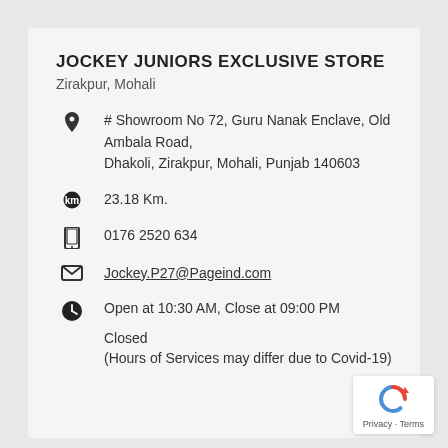JOCKEY JUNIORS EXCLUSIVE STORE
Zirakpur, Mohali
# Showroom No 72, Guru Nanak Enclave, Old Ambala Road, Dhakoli, Zirakpur, Mohali, Punjab 140603
23.18 Km.
0176 2520 634
Jockey.P27@Pageind.com
Open at 10:30 AM, Close at 09:00 PM
Closed
(Hours of Services may differ due to Covid-19)